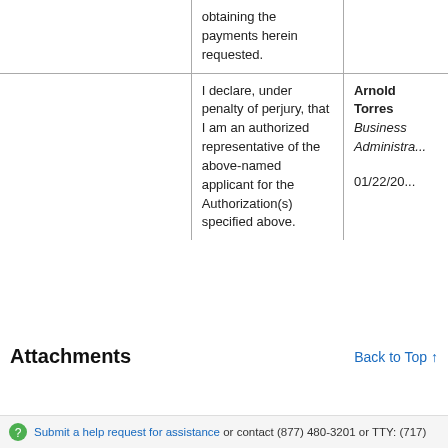|  | obtaining the payments herein requested. |  |
|  | I declare, under penalty of perjury, that I am an authorized representative of the above-named applicant for the Authorization(s) specified above. | Arnold Torres
Business Administra...
01/22/20... |
Attachments
Back to Top ↑
Submit a help request for assistance or contact (877) 480-3201 or TTY: (717)